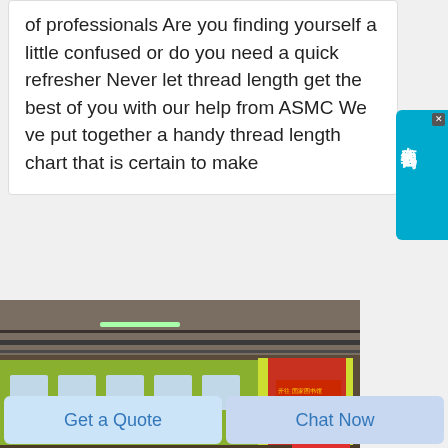of professionals Are you finding yourself a little confused or do you need a quick refresher Never let thread length get the best of you with our help from ASMC We ve put together a handy thread length chart that is certain to make
[Figure (photo): A green and red/orange subway or metro train in an underground station with concrete ceiling and infrastructure visible overhead. The front of the train has a red LED display sign with Chinese characters.]
在线咨询
Get a Quote
Chat Now